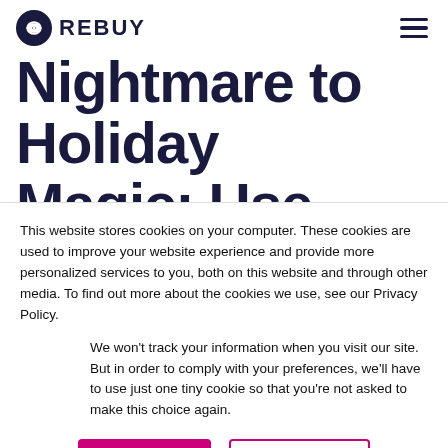REBUY
Nightmare to Holiday Magic: Use Intelligent Personalization to
This website stores cookies on your computer. These cookies are used to improve your website experience and provide more personalized services to you, both on this website and through other media. To find out more about the cookies we use, see our Privacy Policy.
We won't track your information when you visit our site. But in order to comply with your preferences, we'll have to use just one tiny cookie so that you're not asked to make this choice again.
Accept | Decline